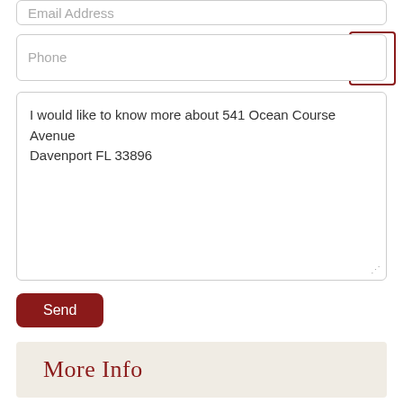Email Address
Phone
I would like to know more about 541 Ocean Course Avenue Davenport FL 33896
Send
More Info
Location Information